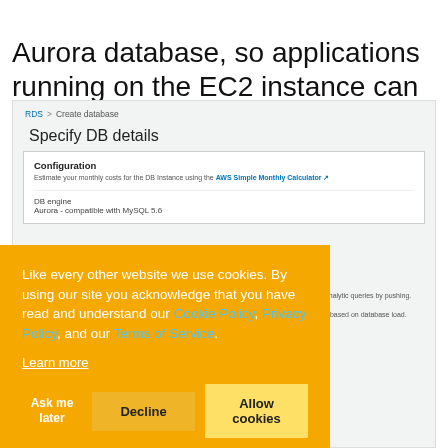Aurora database, so applications running on the EC2 instance can reach the database.
[Figure (screenshot): AWS RDS 'Create database' / 'Specify DB details' page showing Configuration section with DB engine set to Aurora - compatible with MySQL 5.6, partially obscured by a cookie consent banner.]
Like every other website we use cookies. By using our site you acknowledge that you have read and understand our Cookie Policy, Privacy Policy, and our Terms of Service. Learn more
Ask me later   Decline   Allow cookies